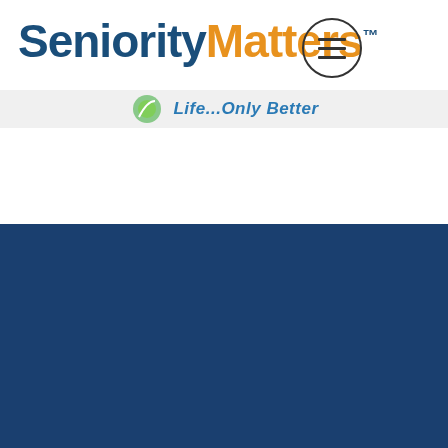[Figure (logo): SeniorityMatters logo with blue 'Seniority' and orange 'Matters' text with TM mark, top left, with hamburger menu icon top right]
[Figure (logo): Small leaf/flower icon with 'Life...Only Better' tagline in blue italic text]
[Figure (logo): Large SeniorityMatters logo centered, blue 'Seniority' and orange 'Matters' with TM mark]
[Figure (infographic): Dark navy footer with Facebook, Twitter, and LinkedIn social media icons, teal divider line, navigation links: ABOUT, PRIVATE SERVICES, RESOURCES, BLOG, ASK NANCY, and scroll-to-top button]